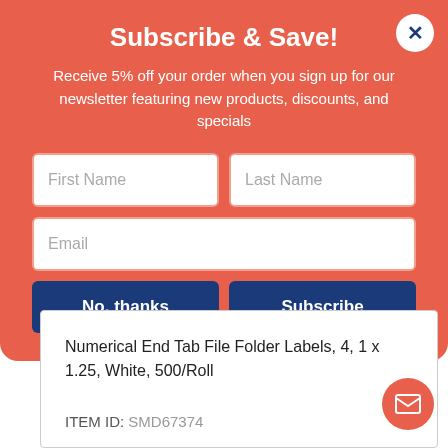Subscribe & Save!
Receive 5% off your order when you sign up for our newsletter featuring new products, discounts, and specials
First Name | Last Name | Email (form fields)
No, thanks | Subscribe (buttons)
Numerical End Tab File Folder Labels, 4, 1 x 1.25, White, 500/Roll
ITEM ID: SMD67374
$18.38 RL
Qty: 1